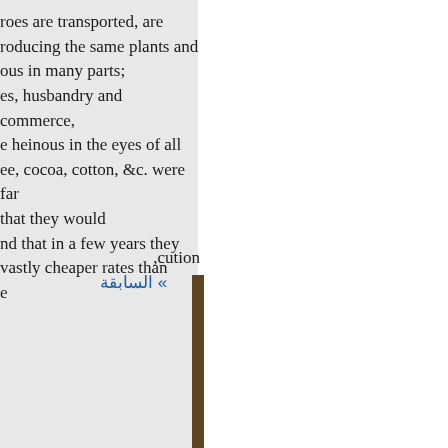roes are transported, are roducing the same plants and ous in many parts; es, husbandry and commerce, e heinous in the eyes of all ee, cocoa, cotton, &c. were far that they would nd that in a few years they vastly cheaper rates than e
,cution
» السابقة